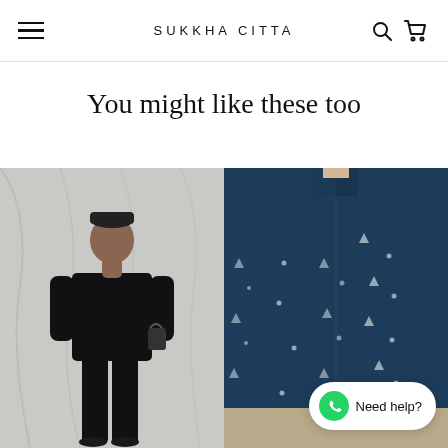SUKKHA CITTA
You might like these too
[Figure (photo): Man wearing all-black outfit (mandarin collar shirt and tapered trousers) against white draped backdrop, holding a bag]
[Figure (photo): Close-up of man wearing navy blue embroidered mandarin-collar long-sleeve shirt with small floral/triangle pattern]